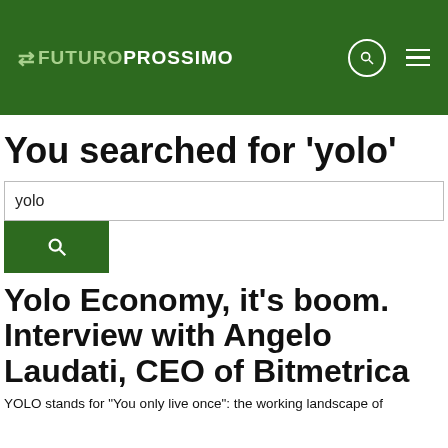FUTUROPROPOSSIMO
You searched for 'yolo'
yolo
Yolo Economy, it's boom. Interview with Angelo Laudati, CEO of Bitmetrica
YOLO stands for "You only live once": the working landscape of